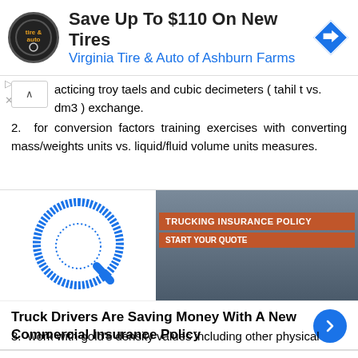[Figure (screenshot): Advertisement for Virginia Tire & Auto of Ashburn Farms: Save Up To $110 On New Tires]
acticing troy taels and cubic decimeters ( tahil t vs. dm3 ) exchange.
2. for conversion factors training exercises with converting mass/weights units vs. liquid/fluid volume units measures.
[Figure (screenshot): Advertisement: Trucking Insurance Policy - Start Your Quote. Truck Drivers Are Saving Money With A New Commercial Insurance Policy]
3. work with gold's density values including other physical